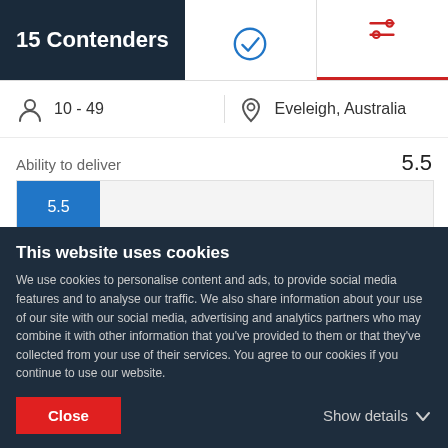15 Contenders
10 - 49
Eveleigh, Australia
Ability to deliver
[Figure (bar-chart): Ability to deliver]
Market presence
This website uses cookies
We use cookies to personalise content and ads, to provide social media features and to analyse our traffic. We also share information about your use of our site with our social media, advertising and analytics partners who may combine it with other information that you've provided to them or that they've collected from your use of their services. You agree to our cookies if you continue to use our website.
Close
Show details